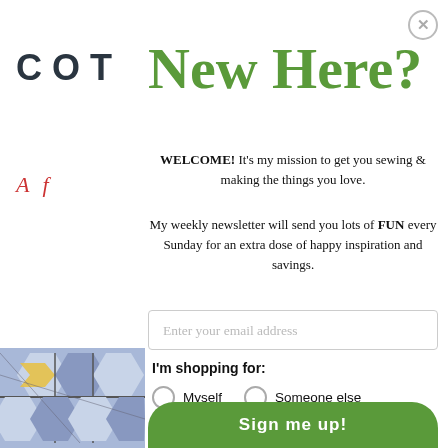[Figure (logo): COT brand logo in dark charcoal bold sans-serif letters with wide letter-spacing]
New Here?
[Figure (illustration): Red/coral 'A f' text acting as decorative logo element]
WELCOME! It's my mission to get you sewing & making the things you love.
My weekly newsletter will send you lots of FUN every Sunday for an extra dose of happy inspiration and savings.
Enter your email address
I'm shopping for:
Myself
Someone else
[Figure (illustration): Partial quilt fabric pattern with blue, yellow, and gray geometric hexagonal shapes visible in the bottom left corner]
Sign me up!